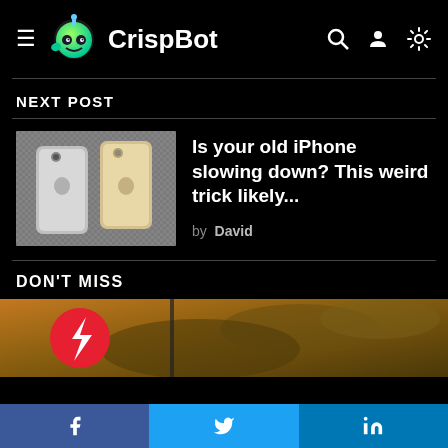CrispBot
NEXT POST
[Figure (photo): Two iPhones shown from back, silver/gold color on gray fabric]
Is your old iPhone slowing down? This weird trick likely...
by David
DON'T MISS
[Figure (photo): Featured image strip with red lightning bolt icon and blurred orange/brown sky background]
f  (Twitter bird)  in